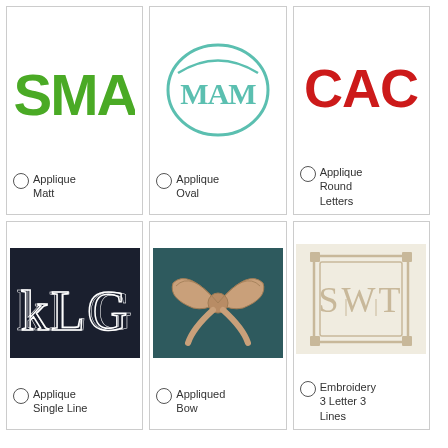[Figure (illustration): Green block letter monogram SMA on white background]
[Figure (illustration): Teal/mint oval shield monogram MAM on white background]
[Figure (illustration): Red round block letters CAC on white background]
Applique Matt
Applique Oval
Applique Round Letters
[Figure (photo): White single-line embroidery monogram KLG on dark navy fabric]
[Figure (photo): Appliqued bow in peach/tan on dark teal fabric]
[Figure (photo): Embroidery monogram SWT in square frame on cream/beige fabric]
Applique Single Line
Appliqued Bow
Embroidery 3 Letter 3 Lines